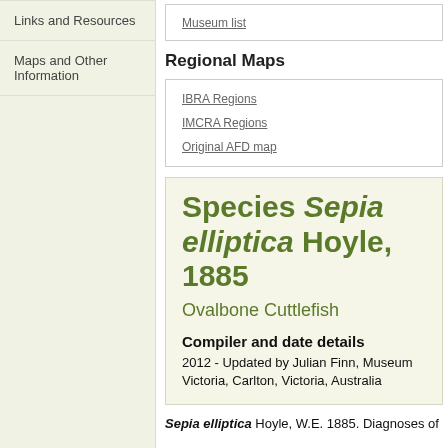Links and Resources
Maps and Other Information
Museum list
Regional Maps
IBRA Regions
IMCRA Regions
Original AFD map
Species Sepia elliptica Hoyle, 1885
Ovalbone Cuttlefish
Compiler and date details
2012 - Updated by Julian Finn, Museum Victoria, Carlton, Victoria, Australia
Sepia elliptica Hoyle, W.E. 1885. Diagnoses of